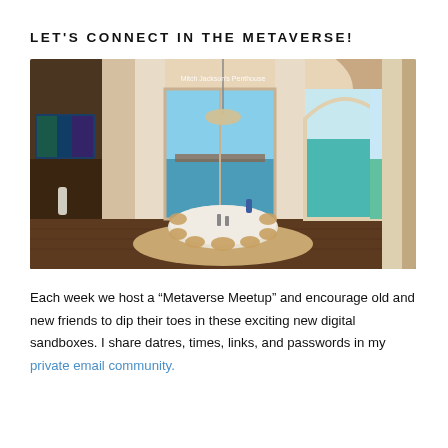LET'S CONNECT IN THE METAVERSE!
[Figure (photo): Interior of a virtual penthouse in the metaverse. A luxurious room with white arched columns, a round marble dining table with golden chairs, large floor-to-ceiling windows showing a waterfront view, a TV screen on the left wall, and an ocean view through an archway on the right. Text overlay reads 'Mitch Jackson's Penthouse'.]
Each week we host a “Metaverse Meetup” and encourage old and new friends to dip their toes in these exciting new digital sandboxes. I share datres, times, links, and passwords in my private email community.